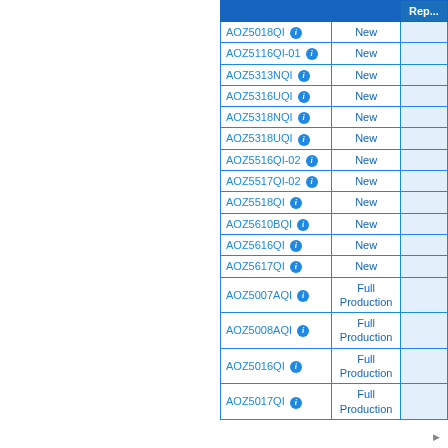|  |  | Rep... |
| --- | --- | --- |
| AOZ5018QI ℹ | New |  |
| AOZ5116QI-01 ℹ | New |  |
| AOZ5313NQI ℹ | New |  |
| AOZ5316UQI ℹ | New |  |
| AOZ5318NQI ℹ | New |  |
| AOZ5318UQI ℹ | New |  |
| AOZ5516QI-02 ℹ | New |  |
| AOZ5517QI-02 ℹ | New |  |
| AOZ5518QI ℹ | New |  |
| AOZ5610BQI ℹ | New |  |
| AOZ5616QI ℹ | New |  |
| AOZ5617QI ℹ | New |  |
| AOZ5007AQI ℹ | Full Production |  |
| AOZ5008AQI ℹ | Full Production |  |
| AOZ5016QI ℹ | Full Production |  |
| AOZ5017QI ℹ | Full Production |  |